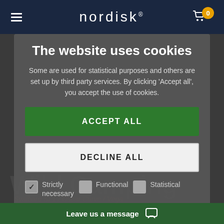nordisk®
The website uses cookies
Some are used for statistical purposes and others are set up by third party services. By clicking 'Accept all', you accept the use of cookies.
ACCEPT ALL
DECLINE ALL
Strictly necessary
Functional
Statistical
Marketing
Wild Camping
Svalbard SI 1 / Oscar Curve / Vega
We love Wild Camping
Leave us a message